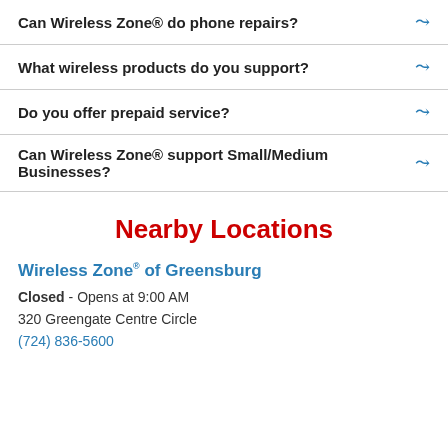Can Wireless Zone® do phone repairs?
What wireless products do you support?
Do you offer prepaid service?
Can Wireless Zone® support Small/Medium Businesses?
Nearby Locations
Wireless Zone® of Greensburg
Closed - Opens at 9:00 AM
320 Greengate Centre Circle
(724) 836-5600